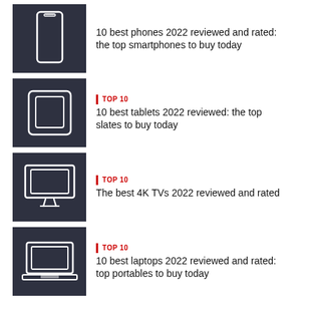10 best phones 2022 reviewed and rated: the top smartphones to buy today
TOP 10 | 10 best tablets 2022 reviewed: the top slates to buy today
TOP 10 | The best 4K TVs 2022 reviewed and rated
TOP 10 | 10 best laptops 2022 reviewed and rated: top portables to buy today